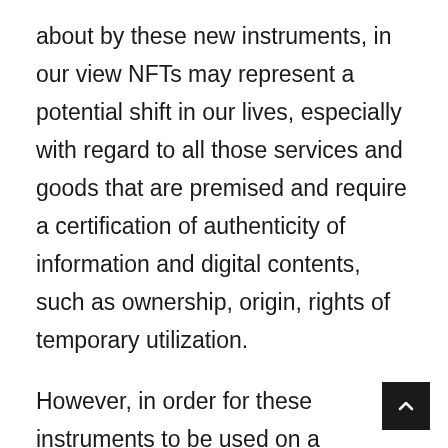about by these new instruments, in our view NFTs may represent a potential shift in our lives, especially with regard to all those services and goods that are premised and require a certification of authenticity of information and digital contents, such as ownership, origin, rights of temporary utilization.
However, in order for these instruments to be used on a widespread scale, it is necessary that – on the one hand – platforms introduce and guarantee an efficient